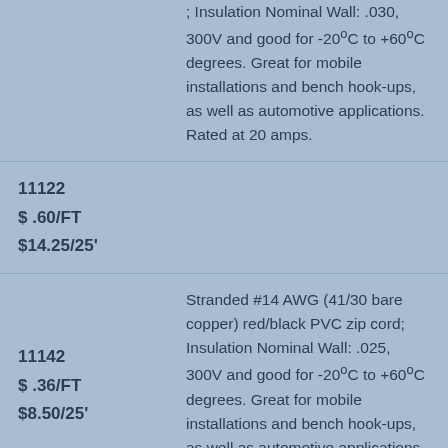| Item / Price | Description |
| --- | --- |
| 11122
$ .60/FT
$14.25/25' | ; Insulation Nominal Wall: .030, 300V and good for -20°C to +60°C degrees. Great for mobile installations and bench hook-ups, as well as automotive applications. Rated at 20 amps. |
| 11142
$ .36/FT
$8.50/25' | Stranded #14 AWG (41/30 bare copper) red/black PVC zip cord; Insulation Nominal Wall: .025, 300V and good for -20°C to +60°C degrees. Great for mobile installations and bench hook-ups, as well as automotive applications. Rated at 15 amps. |
|  | Stranded #16 AWG (26/30 bare |